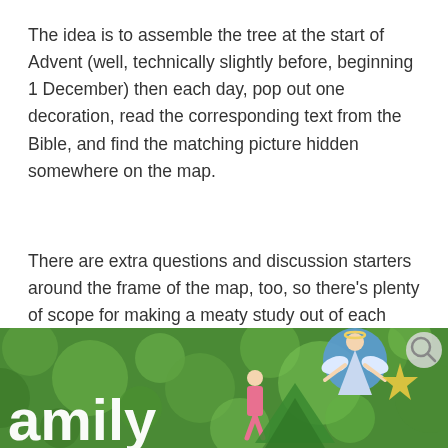The idea is to assemble the tree at the start of Advent (well, technically slightly before, beginning 1 December) then each day, pop out one decoration, read the corresponding text from the Bible, and find the matching picture hidden somewhere on the map.
There are extra questions and discussion starters around the frame of the map, too, so there's plenty of scope for making a meaty study out of each day's addition.
[Figure (photo): Photo of colourful paper cut-out nativity figures (angel, shepherds, star) against a blurred green bokeh background, with large white bold text 'amily' visible in the lower left (partial word, likely 'Family'). A magnifying glass icon is visible in the upper right corner of the image.]